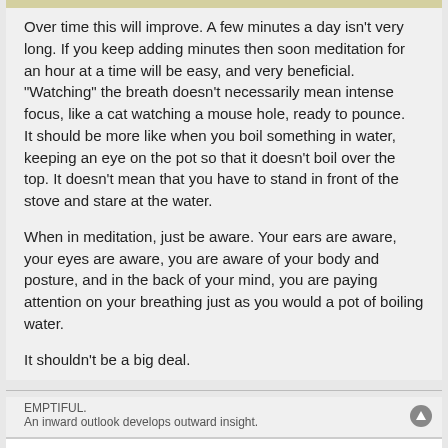Over time this will improve. A few minutes a day isn't very long. If you keep adding minutes then soon meditation for an hour at a time will be easy, and very beneficial.
“Watching” the breath doesn’t necessarily mean intense focus, like a cat watching a mouse hole, ready to pounce.
It should be more like when you boil something in water, keeping an eye on the pot so that it doesn’t boil over the top. It doesn’t mean that you have to stand in front of the stove and stare at the water.
When in meditation, just be aware. Your ears are aware, your eyes are aware, you are aware of your body and posture, and in the back of your mind, you are paying attention on your breathing just as you would a pot of boiling water.
It shouldn’t be a big deal.
EMPTIFUL.
An inward outlook develops outward insight.
Archie2009
Re: Breath meditation vs space meditation